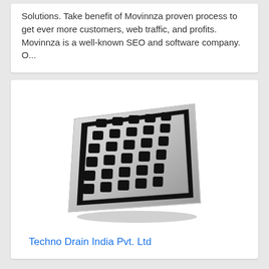Solutions. Take benefit of Movinnza proven process to get ever more customers, web traffic, and profits. Movinnza is a well-known SEO and software company. O...
[Figure (photo): Product photo of a square stainless steel floor drain cover with a grid pattern of square holes, shown at a perspective angle.]
Techno Drain India Pvt. Ltd